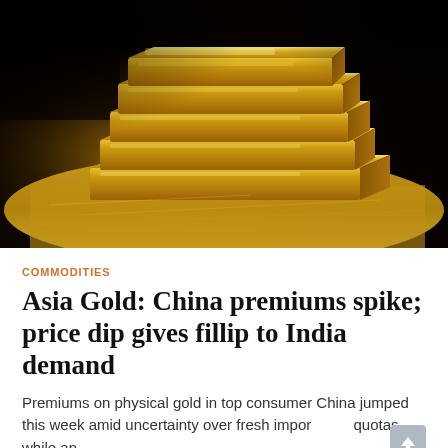[Figure (photo): Photograph of stacked gold bars/ingots on a reflective gold surface, dark background. The bars are shiny, rectangular, and arranged in a neat stack filling most of the frame.]
COMMODITIES
Asia Gold: China premiums spike; price dip gives fillip to India demand
Premiums on physical gold in top consumer China jumped this week amid uncertainty over fresh import quotas, while an...